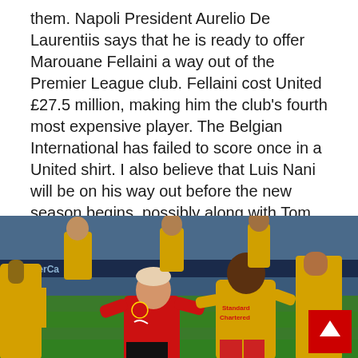them. Napoli President Aurelio De Laurentiis says that he is ready to offer Marouane Fellaini a way out of the Premier League club. Fellaini cost United £27.5 million, making him the club's fourth most expensive player. The Belgian International has failed to score once in a United shirt. I also believe that Luis Nani will be on his way out before the new season begins, possibly along with Tom Cleverley.
[Figure (photo): Football match action photo showing a Manchester United player in red jersey challenging a Liverpool player in yellow jersey on the pitch, with other players visible in the background and crowd/advertising boards behind them.]